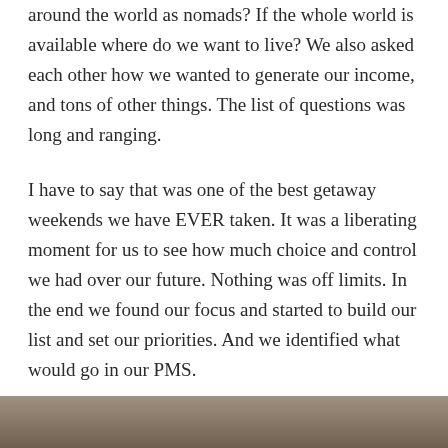around the world as nomads? If the whole world is available where do we want to live? We also asked each other how we wanted to generate our income, and tons of other things. The list of questions was long and ranging.
I have to say that was one of the best getaway weekends we have EVER taken. It was a liberating moment for us to see how much choice and control we had over our future. Nothing was off limits. In the end we found our focus and started to build our list and set our priorities. And we identified what would go in our PMS.
[Figure (photo): Partial photo of people visible at the bottom of the page]